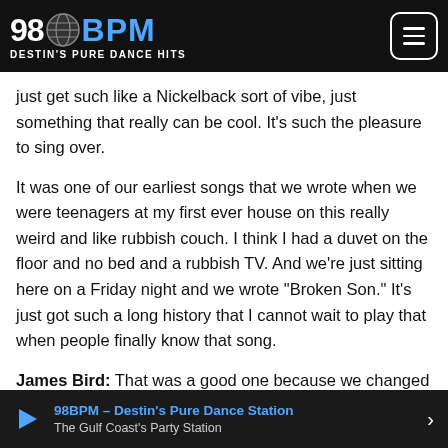98BPM – DESTIN'S PURE DANCE HITS
just get such like a Nickelback sort of vibe, just something that really can be cool. It's such the pleasure to sing over.
It was one of our earliest songs that we wrote when we were teenagers at my first ever house on this really weird and like rubbish couch. I think I had a duvet on the floor and no bed and a rubbish TV. And we're just sitting here on a Friday night and we wrote "Broken Son." It's just got such a long history that I cannot wait to play that when people finally know that song.
James Bird: That was a good one because we changed that a bit and people don't quite know it. While we're a band that's been kicking about for a couple of years getting experience playing live, we've not had the album to show yet. So we've
98BPM – Destin's Pure Dance Station
The Gulf Coast's Party Station